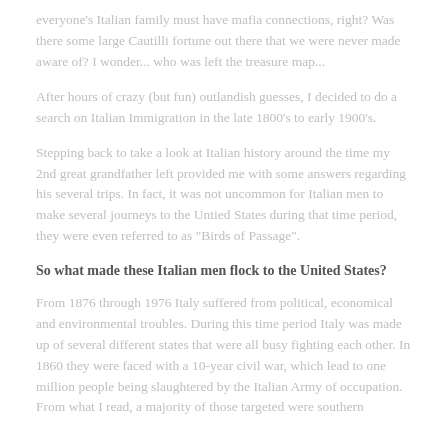everyone's Italian family must have mafia connections, right? Was there some large Cautilli fortune out there that we were never made aware of? I wonder... who was left the treasure map...
After hours of crazy (but fun) outlandish guesses, I decided to do a search on Italian Immigration in the late 1800's to early 1900's.
Stepping back to take a look at Italian history around the time my 2nd great grandfather left provided me with some answers regarding his several trips. In fact, it was not uncommon for Italian men to make several journeys to the Untied States during that time period, they were even referred to as "Birds of Passage".
So what made these Italian men flock to the United States?
From 1876 through 1976 Italy suffered from political, economical and environmental troubles. During this time period Italy was made up of several different states that were all busy fighting each other. In 1860 they were faced with a 10-year civil war, which lead to one million people being slaughtered by the Italian Army of occupation. From what I read, a majority of those targeted were southern